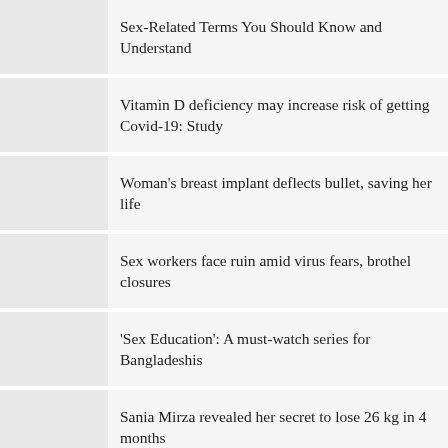Sex-Related Terms You Should Know and Understand
Vitamin D deficiency may increase risk of getting Covid-19: Study
Woman's breast implant deflects bullet, saving her life
Sex workers face ruin amid virus fears, brothel closures
'Sex Education': A must-watch series for Bangladeshis
Sania Mirza revealed her secret to lose 26 kg in 4 months